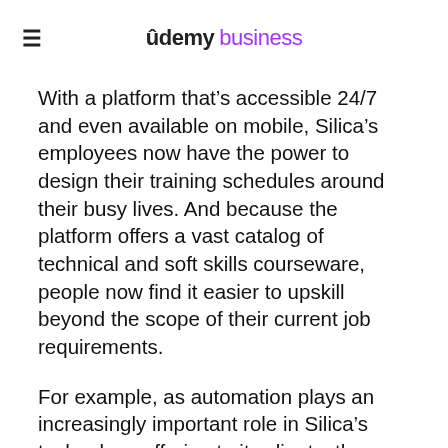Udemy business
With a platform that's accessible 24/7 and even available on mobile, Silica's employees now have the power to design their training schedules around their busy lives. And because the platform offers a vast catalog of technical and soft skills courseware, people now find it easier to upskill beyond the scope of their current job requirements.
For example, as automation plays an increasingly important role in Silica's technology offering to its clients, the need for developer, cloud engineering, and business analyst skills across the business is expected to increase significantly in the coming years. By offering existing employees the opportunity to upskill in